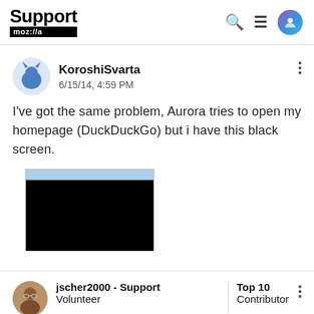Support mozilla
KoroshiSvarta
6/15/14, 4:59 PM
I've got the same problem, Aurora tries to open my homepage (DuckDuckGo) but i have this black screen.
[Figure (screenshot): Screenshot of a browser window with a black screen where the homepage should load]
jscher2000 - Support
Top 10 Contributor